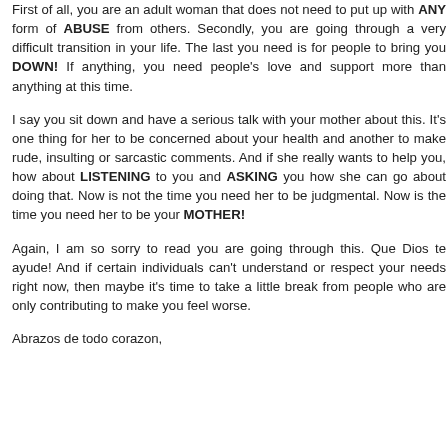First of all, you are an adult woman that does not need to put up with ANY form of ABUSE from others. Secondly, you are going through a very difficult transition in your life. The last you need is for people to bring you DOWN! If anything, you need people's love and support more than anything at this time.
I say you sit down and have a serious talk with your mother about this. It's one thing for her to be concerned about your health and another to make rude, insulting or sarcastic comments. And if she really wants to help you, how about LISTENING to you and ASKING you how she can go about doing that. Now is not the time you need her to be judgmental. Now is the time you need her to be your MOTHER!
Again, I am so sorry to read you are going through this. Que Dios te ayude! And if certain individuals can't understand or respect your needs right now, then maybe it's time to take a little break from people who are only contributing to make you feel worse.
Abrazos de todo corazon,